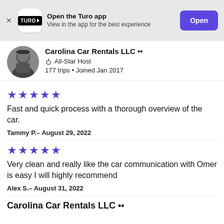[Figure (screenshot): Turo app banner with logo, 'Open the Turo app' text, 'View in the app for the best experience' subtitle, and a purple 'Open' button]
Carolina Car Rentals LLC \u2022\u2022
All-Star Host
177 trips • Joined Jan 2017
★★★★★
Fast and quick process with a thorough overview of the car.
Tammy P.– August 29, 2022
★★★★★
Very clean and really like the car communication with Omer is easy I will highly recommend
Alex S.– August 31, 2022
Carolina Car Rentals LLC ••